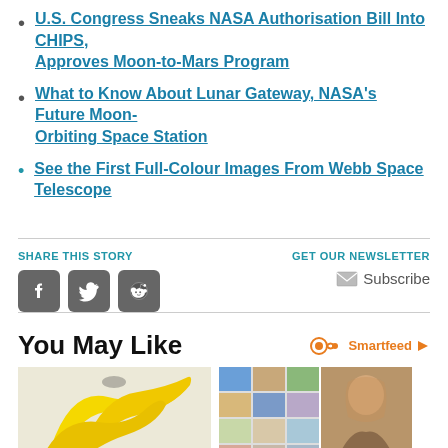U.S. Congress Sneaks NASA Authorisation Bill Into CHIPS, Approves Moon-to-Mars Program
What to Know About Lunar Gateway, NASA's Future Moon-Orbiting Space Station
See the First Full-Colour Images From Webb Space Telescope
SHARE THIS STORY
GET OUR NEWSLETTER
Subscribe
You May Like
Smartfeed
[Figure (photo): Yellow banana peels on marble surface]
[Figure (photo): Collage of beach photos and a woman with long dark hair in bikini]